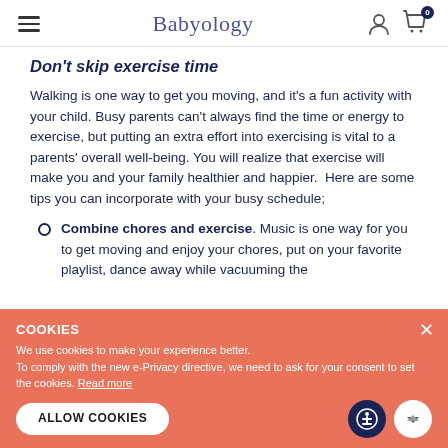Babyology
Don't skip exercise time
Walking is one way to get you moving, and it's a fun activity with your child. Busy parents can't always find the time or energy to exercise, but putting an extra effort into exercising is vital to a parents' overall well-being. You will realize that exercise will make you and your family healthier and happier.  Here are some tips you can incorporate with your busy schedule;
Combine chores and exercise. Music is one way for you to get moving and enjoy your chores, put on your favorite playlist, dance away while vacuuming the
COOKIES
We use cookies to make your experience better.
To comply with the new e-Privacy directive, we need to ask for your consent to set the cookies. Read more
ALLOW COOKIES